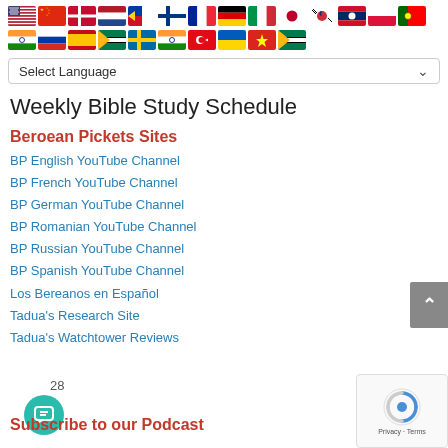[Figure (illustration): Two rows of country flag icons representing different language options]
Select Language
Weekly Bible Study Schedule
Beroean Pickets Sites
BP English YouTube Channel
BP French YouTube Channel
BP German YouTube Channel
BP Romanian YouTube Channel
BP Russian YouTube Channel
BP Spanish YouTube Channel
Los Bereanos en Español
Tadua's Research Site
Tadua's Watchtower Reviews
Subscribe to our Podcast